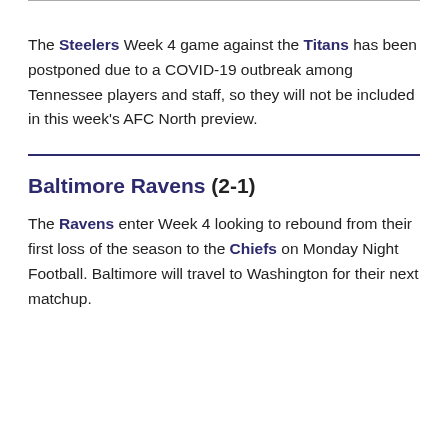The Steelers Week 4 game against the Titans has been postponed due to a COVID-19 outbreak among Tennessee players and staff, so they will not be included in this week's AFC North preview.
Baltimore Ravens (2-1)
The Ravens enter Week 4 looking to rebound from their first loss of the season to the Chiefs on Monday Night Football. Baltimore will travel to Washington for their next matchup.